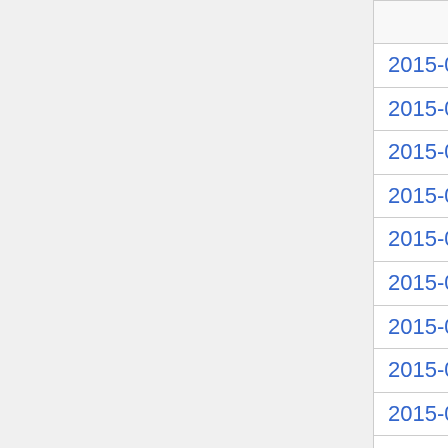| Date | Type |  |
| --- | --- | --- |
| 2015-07-27 | building |  |
| 2015-07-27 | fundraising |  |
| 2015-07-26 | cdc |  |
| 2015-07-25 | commons |  |
| 2015-07-23 | delegates |  |
| 2015-07-22 | finance |  |
| 2015-07-20 | building |  |
| 2015-07-20 | fundraising |  |
| 2015-07-19 | cdc |  |
| 2015-07-18 | commons |  |
| 2015-07-16 | delegates |  |
| 2015-07-13 | building |  |
| 2015-07-13 | fundraising |  |
| 2015-07-11 | commons |  |
| 2015-07-08 | finance |  |